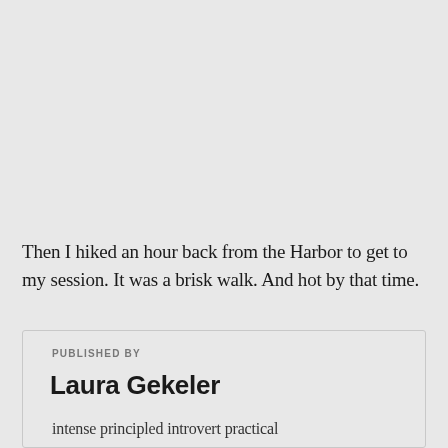Then I hiked an hour back from the Harbor to get to my session. It was a brisk walk. And hot by that time.
PUBLISHED BY
Laura Gekeler
intense principled introvert practical